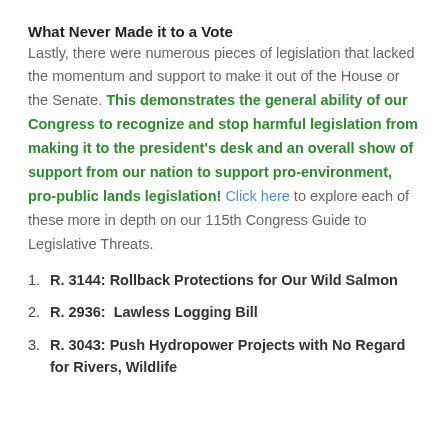What Never Made it to a Vote
Lastly, there were numerous pieces of legislation that lacked the momentum and support to make it out of the House or the Senate. This demonstrates the general ability of our Congress to recognize and stop harmful legislation from making it to the president's desk and an overall show of support from our nation to support pro-environment, pro-public lands legislation! Click here to explore each of these more in depth on our 115th Congress Guide to Legislative Threats.
R. 3144: Rollback Protections for Our Wild Salmon
R. 2936:  Lawless Logging Bill
R. 3043: Push Hydropower Projects with No Regard for Rivers, Wildlife